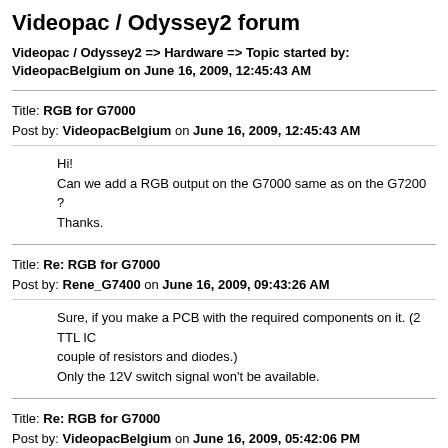Videopac / Odyssey2 forum
Videopac / Odyssey2 => Hardware => Topic started by: VideopacBelgium on June 16, 2009, 12:45:43 AM
Title: Re: RGB for G7000
Post by: VideopacBelgium on June 16, 2009, 12:45:43 AM
Hi!
Can we add a RGB output on the G7000 same as on the G7200 ?
Thanks.
Title: Re: RGB for G7000
Post by: Rene_G7400 on June 16, 2009, 09:43:26 AM
Sure, if you make a PCB with the required components on it. (2 TTL IC couple of resistors and diodes.)
Only the 12V switch signal won't be available.
Title: Re: RGB for G7000
Post by: VideopacBelgium on June 16, 2009, 05:42:06 PM
Hi!
Thanks Ren?.
Yes I'm very interested for that.
Do you have the circuit diagram?